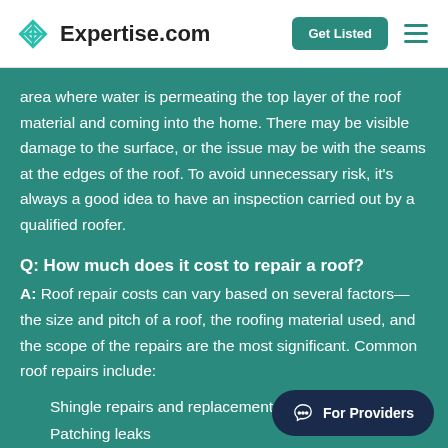Expertise.com | Get Listed
area where water is permeating the top layer of the roof material and coming into the home. There may be visible damage to the surface, or the issue may be with the seams at the edges of the roof. To avoid unnecessary risk, it's always a good idea to have an inspection carried out by a qualified roofer.
Q: How much does it cost to repair a roof?
A: Roof repair costs can vary based on several factors—the size and pitch of a roof, the roofing material used, and the scope of the repairs are the most significant. Common roof repairs include:
Shingle repairs and replacement
Patching leaks